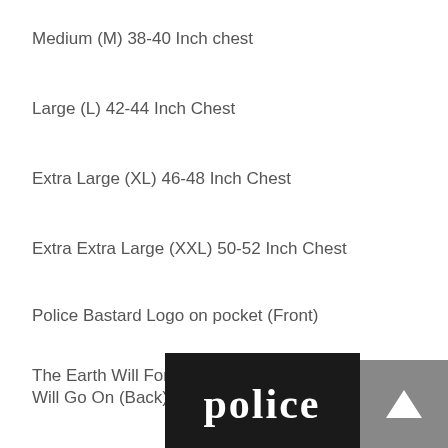Medium (M) 38-40 Inch chest
Large (L) 42-44 Inch Chest
Extra Large (XL) 46-48 Inch Chest
Extra Extra Large (XXL) 50-52 Inch Chest
Police Bastard Logo on pocket (Front)
The Earth Will Forget Mankind, The Play Of Life Will Go On (Back)
[Figure (logo): Police logo in black background with white gothic/blackletter text reading 'police']